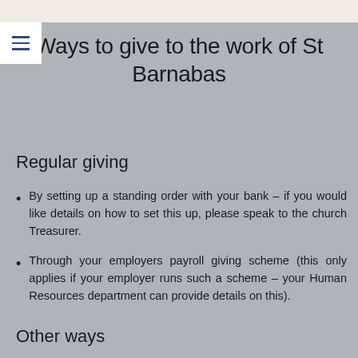Ways to give to the work of St Barnabas
Regular giving
By setting up a standing order with your bank – if you would like details on how to set this up, please speak to the church Treasurer.
Through your employers payroll giving scheme (this only applies if your employer runs such a scheme – your Human Resources department can provide details on this).
Other ways